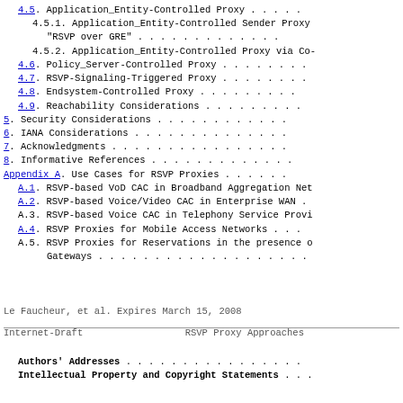4.5. Application_Entity-Controlled Proxy . . . . .
4.5.1. Application_Entity-Controlled Sender Proxy "RSVP over GRE" . . . . . . . . . . . . .
4.5.2. Application_Entity-Controlled Proxy via Co-
4.6. Policy_Server-Controlled Proxy . . . . . . . .
4.7. RSVP-Signaling-Triggered Proxy . . . . . . . .
4.8. Endsystem-Controlled Proxy . . . . . . . . .
4.9. Reachability Considerations . . . . . . . . .
5. Security Considerations . . . . . . . . . . . .
6. IANA Considerations . . . . . . . . . . . . . .
7. Acknowledgments . . . . . . . . . . . . . . . .
8. Informative References . . . . . . . . . . . . .
Appendix A. Use Cases for RSVP Proxies . . . . . .
A.1. RSVP-based VoD CAC in Broadband Aggregation Net
A.2. RSVP-based Voice/Video CAC in Enterprise WAN .
A.3. RSVP-based Voice CAC in Telephony Service Provi
A.4. RSVP Proxies for Mobile Access Networks . . .
A.5. RSVP Proxies for Reservations in the presence o Gateways . . . . . . . . . . . . . . . . . . .
Le Faucheur, et al.     Expires March 15, 2008
Internet-Draft                  RSVP Proxy Approaches
Authors' Addresses . . . . . . . . . . . . . . . .
Intellectual Property and Copyright Statements . . .